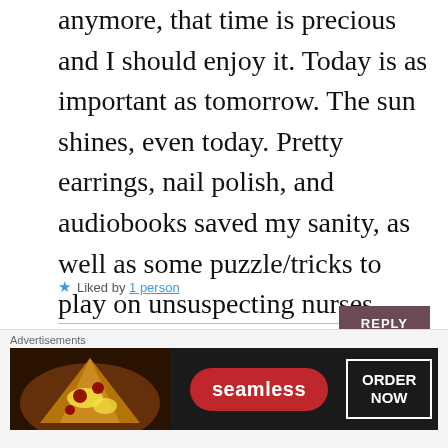anymore, that time is precious and I should enjoy it. Today is as important as tomorrow. The sun shines, even today. Pretty earrings, nail polish, and audiobooks saved my sanity, as well as some puzzle/tricks to play on unsuspecting nurses. Anyway, truly hope this finds you well.
Brenda
★ Liked by 1 person
REPLY
[Figure (other): Partial avatar/profile image at bottom of comment section]
[Figure (other): Close/dismiss button (X in circle) at bottom right]
Advertisements
[Figure (other): Seamless food delivery advertisement banner with pizza image, Seamless logo in red pill badge, and ORDER NOW button in white bordered box on dark background]